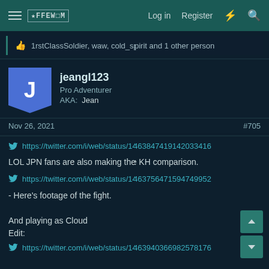Navigation bar with hamburger menu, logo, Log in, Register, flash icon, search icon
1rstClassSoldier, waw, cold_spirit and 1 other person
jeangl123
Pro Adventurer
AKA: Jean
Nov 26, 2021   #705
https://twitter.com/i/web/status/1463847419142033416
LOL JPN fans are also making the KH comparison.
https://twitter.com/i/web/status/1463756471594749952
- Here's footage of the fight.

And playing as Cloud
Edit:
https://twitter.com/i/web/status/1463940366982578176